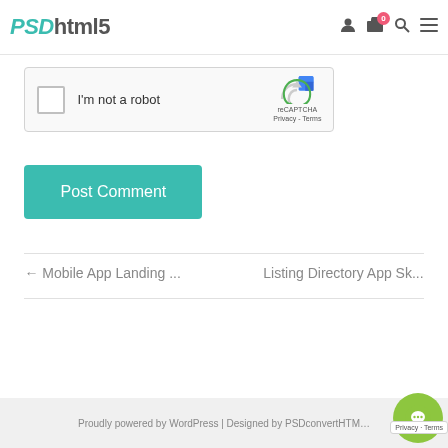PSDhtml5
[Figure (screenshot): reCAPTCHA checkbox widget with 'I'm not a robot' label and reCAPTCHA logo showing Privacy and Terms links]
Post Comment
← Mobile App Landing ...   Listing Directory App Sk...
Proudly powered by WordPress | Designed by PSDconvertHTM...